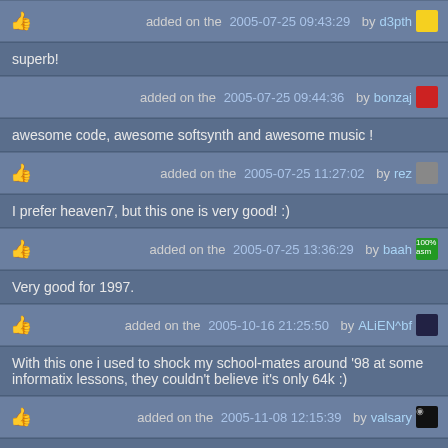added on the 2005-07-25 09:43:29 by d3pth
superb!
added on the 2005-07-25 09:44:36 by bonzaj
awesome code, awesome softsynth and awesome music !
added on the 2005-07-25 11:27:02 by rez
I prefer heaven7, but this one is very good! :)
added on the 2005-07-25 13:36:29 by baah
Very good for 1997.
added on the 2005-10-16 21:25:50 by ALiEN^bf
With this one i used to shock my school-mates around '98 at some informatix lessons, they couldn't believe it's only 64k :)
added on the 2005-11-08 12:15:39 by valsary
they should ;-)
added on the 2006-03-31 17:... by ghoard...